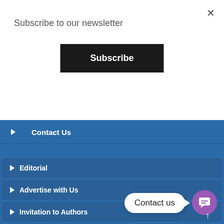Subscribe to our newsletter
Subscribe
Contact Us
Editorial
Advertise with Us
Invitation to Authors
Careers with us
Contact us